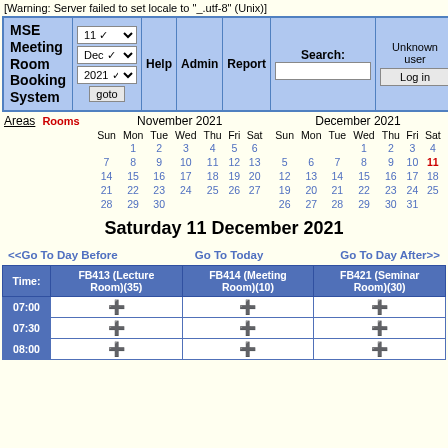[Warning: Server failed to set locale to "_.utf-8" (Unix)]
| MSE Meeting Room Booking System | 11 Dec 2021 goto | Help | Admin | Report | Search: | Unknown user / Log in |
| --- | --- | --- | --- | --- | --- | --- |
Areas  Rooms
|  | November 2021 |  | December 2021 |
| --- | --- | --- | --- |
| Sun | Mon | Tue | Wed | Thu | Fri | Sat |  | Sun | Mon | Tue | Wed | Thu | Fri | Sat |
|  | 1 | 2 | 3 | 4 | 5 | 6 |  |  |  |  | 1 | 2 | 3 | 4 |
| 7 | 8 | 9 | 10 | 11 | 12 | 13 |  | 5 | 6 | 7 | 8 | 9 | 10 | 11 |
| 14 | 15 | 16 | 17 | 18 | 19 | 20 |  | 12 | 13 | 14 | 15 | 16 | 17 | 18 |
| 21 | 22 | 23 | 24 | 25 | 26 | 27 |  | 19 | 20 | 21 | 22 | 23 | 24 | 25 |
| 28 | 29 | 30 |  |  |  |  |  | 26 | 27 | 28 | 29 | 30 | 31 |  |
Saturday 11 December 2021
<<Go To Day Before    Go To Today    Go To Day After>>
| Time: | FB413 (Lecture Room)(35) | FB414 (Meeting Room)(10) | FB421 (Seminar Room)(30) |
| --- | --- | --- | --- |
| 07:00 | + | + | + |
| 07:30 | + | + | + |
| 08:00 | + | + | + |